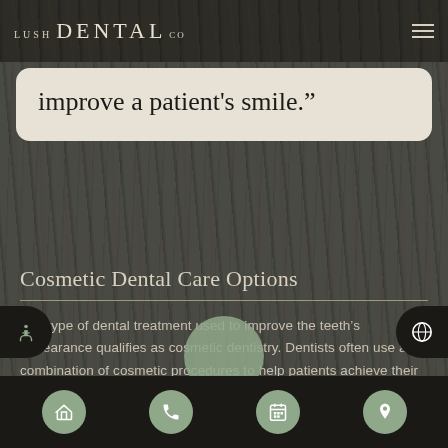LUSH DENTAL CO
improve a patient’s smile.”
Cosmetic Dental Care Options
Any type of dental treatment used to improve the teeth’s appearance qualifies as cosmetic dentistry. Dentists often use a combination of cosmetic procedures to help patients achieve their desired results. Some of the different types of cosmetic dentistry treatments ar…